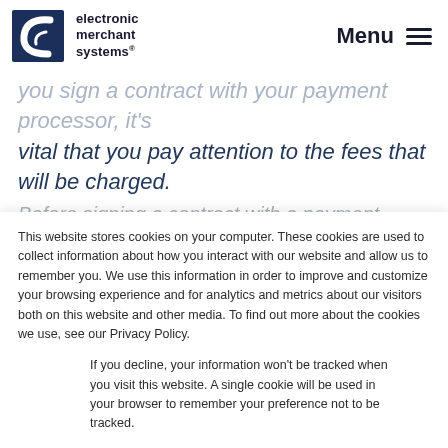electronic merchant systems | Menu
you sign a contract with your payment processor, it's vital that you pay attention to the fees that will be charged.
This website stores cookies on your computer. These cookies are used to collect information about how you interact with our website and allow us to remember you. We use this information in order to improve and customize your browsing experience and for analytics and metrics about our visitors both on this website and other media. To find out more about the cookies we use, see our Privacy Policy.
If you decline, your information won't be tracked when you visit this website. A single cookie will be used in your browser to remember your preference not to be tracked.
Accept | Decline